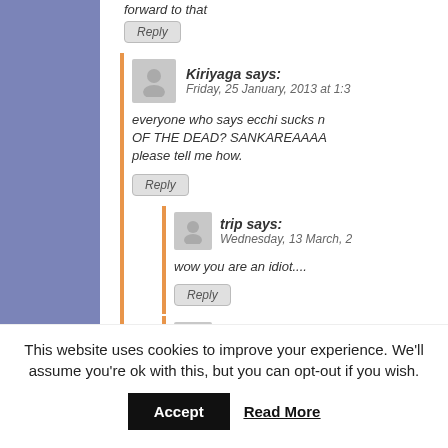forward to that
Reply
Kiriyaga says: Friday, 25 January, 2013 at 1:3...
everyone who says ecchi sucks n... OF THE DEAD? SANKAREAAAA... please tell me how.
Reply
trip says: Wednesday, 13 March, 2...
wow you are an idiot....
Reply
Anonymous says: Saturday, 27 July, 2013 a...
I am a girl and ecchi seriously... it is the worst thing in the wor...
This website uses cookies to improve your experience. We'll assume you're ok with this, but you can opt-out if you wish.
Accept
Read More